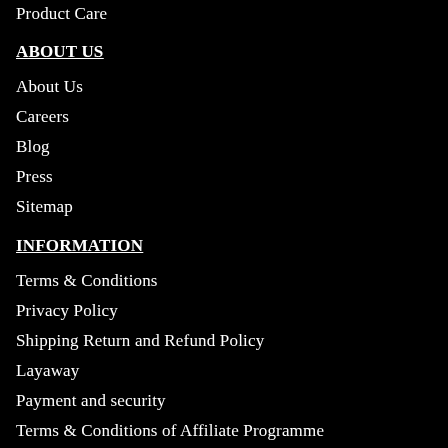Product Care
ABOUT US
About Us
Careers
Blog
Press
Sitemap
INFORMATION
Terms & Conditions
Privacy Policy
Shipping Return and Refund Policy
Layaway
Payment and security
Terms & Conditions of Affiliate Programme
WHOLESALE